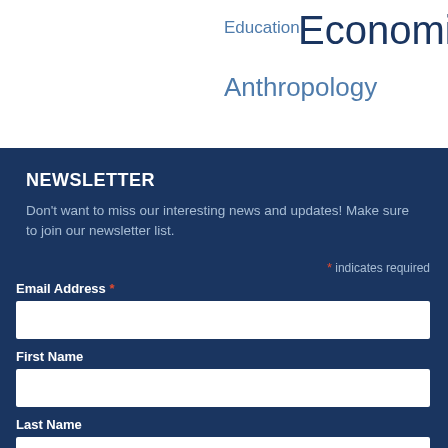Education
Economics
Anthropology
NEWSLETTER
Don't want to miss our interesting news and updates! Make sure to join our newsletter list.
* indicates required
Email Address *
First Name
Last Name